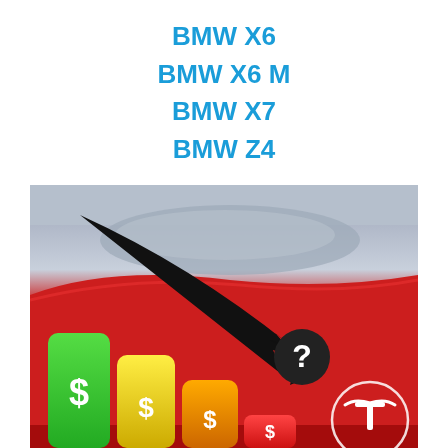BMW X6
BMW X6 M
BMW X7
BMW Z4
[Figure (photo): A red Tesla car with a large black downward arrow containing a question mark, overlaid on top of bar chart icons showing green, yellow, and orange/red dollar sign bars, with Tesla logo visible at bottom right. The image suggests Tesla price drops or pricing questions.]